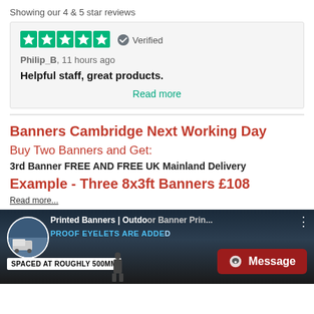Showing our 4 & 5 star reviews
Verified
Philip_B, 11 hours ago
Helpful staff, great products.
Read more
Banners Cambridge Next Working Day
Buy Two Banners and Get:
3rd Banner FREE AND FREE UK Mainland Delivery
Example - Three 8x3ft Banners £108
Read more...
[Figure (screenshot): Video thumbnail showing printed banners outdoor banner printing, with text PROOF EYELETS ARE ADDED and SPACED AT ROUGHLY 500MM, and a Message chat button overlay]